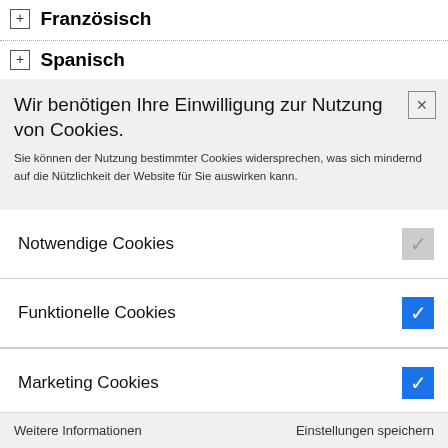⊞ Französisch
⊞ Spanisch
Wir benötigen Ihre Einwilligung zur Nutzung von Cookies.
Sie können der Nutzung bestimmter Cookies widersprechen, was sich mindernd auf die Nützlichkeit der Website für Sie auswirken kann.
Notwendige Cookies
Funktionelle Cookies
Marketing Cookies
Weitere Informationen    Einstellungen speichern